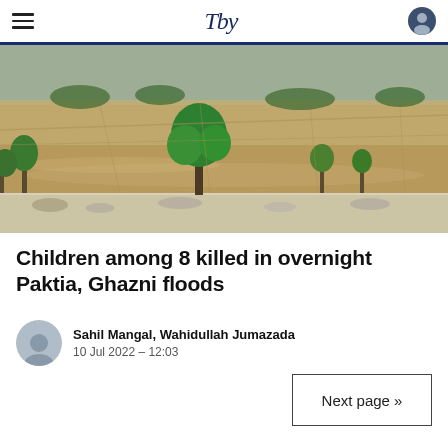Tby [logo]
[Figure (photo): Aerial or ground-level view of flooded fields and farmland with muddy brown floodwater, trees along an embankment, overcast sky in the background.]
Children among 8 killed in overnight Paktia, Ghazni floods
Sahil Mangal, Wahidullah Jumazada
10 Jul 2022 – 12:03
Next page »